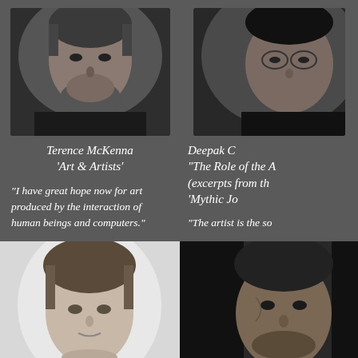[Figure (photo): Black and white portrait photo of Terence McKenna, older man with beard]
Terence McKenna
'Art & Artists'
"I have great hope now for art produced by the interaction of human beings and computers."
[Figure (photo): Black and white portrait photo of Deepak Chopra, partially cropped on right side]
Deepak C
'The Role of the A
(excerpts from th
'Mythic Jo
"The artist is the so
a society."
[Figure (photo): Black and white portrait photo of a man, light background, close-up face]
[Figure (photo): Black and white portrait photo of a man with dark hair, partially cropped on right]